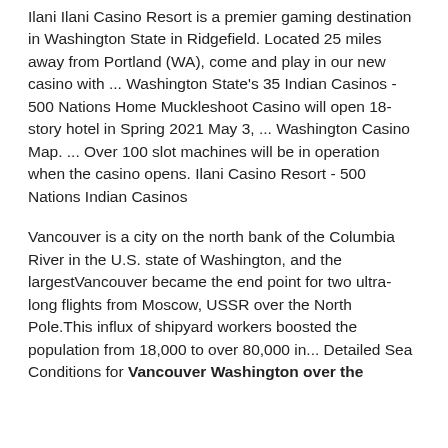Ilani Ilani Casino Resort is a premier gaming destination in Washington State in Ridgefield. Located 25 miles away from Portland (WA), come and play in our new casino with ... Washington State's 35 Indian Casinos - 500 Nations Home Muckleshoot Casino will open 18-story hotel in Spring 2021 May 3, ... Washington Casino Map. ... Over 100 slot machines will be in operation when the casino opens. Ilani Casino Resort - 500 Nations Indian Casinos
Vancouver is a city on the north bank of the Columbia River in the U.S. state of Washington, and the largestVancouver became the end point for two ultra-long flights from Moscow, USSR over the North Pole.This influx of shipyard workers boosted the population from 18,000 to over 80,000 in... Detailed Sea Conditions for Vancouver Washington over the